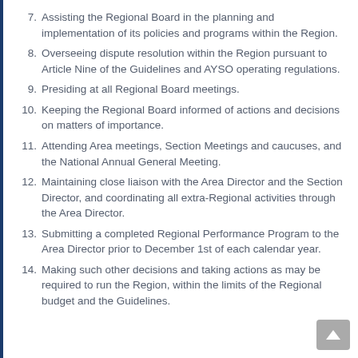7. Assisting the Regional Board in the planning and implementation of its policies and programs within the Region.
8. Overseeing dispute resolution within the Region pursuant to Article Nine of the Guidelines and AYSO operating regulations.
9. Presiding at all Regional Board meetings.
10. Keeping the Regional Board informed of actions and decisions on matters of importance.
11. Attending Area meetings, Section Meetings and caucuses, and the National Annual General Meeting.
12. Maintaining close liaison with the Area Director and the Section Director, and coordinating all extra-Regional activities through the Area Director.
13. Submitting a completed Regional Performance Program to the Area Director prior to December 1st of each calendar year.
14. Making such other decisions and taking actions as may be required to run the Region, within the limits of the Regional budget and the Guidelines.